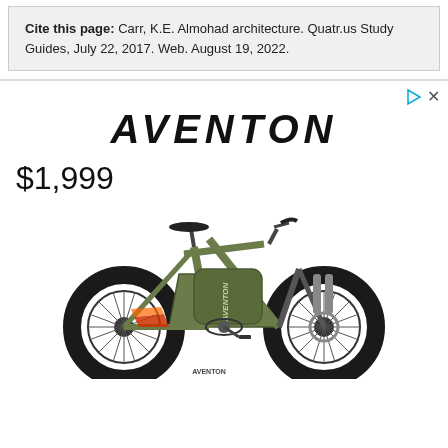Cite this page: Carr, K.E. Almohad architecture. Quatr.us Study Guides, July 22, 2017. Web. August 19, 2022.
[Figure (photo): Aventon e-bike advertisement showing a fat-tire electric mountain bike priced at $1,999 with the Aventon logo in italic bold text at the top]